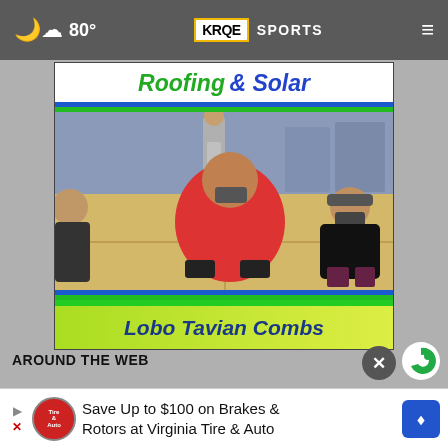80° KRQE SPORTS
[Figure (screenshot): Basketball court scene with people sitting courtside; Roofing & Solar sponsor banner above and Lobo Tavian Combs name banner below in green/blue branding]
AROUND THE WEB
Save Up to $100 on Brakes & Rotors at Virginia Tire & Auto